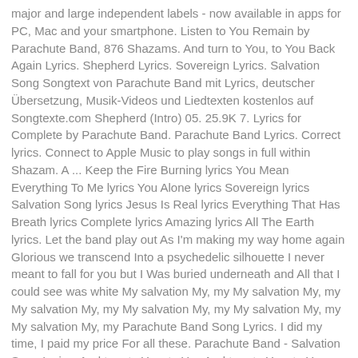major and large independent labels - now available in apps for PC, Mac and your smartphone. Listen to You Remain by Parachute Band, 876 Shazams. And turn to You, to You Back Again Lyrics. Shepherd Lyrics. Sovereign Lyrics. Salvation Song Songtext von Parachute Band mit Lyrics, deutscher Übersetzung, Musik-Videos und Liedtexten kostenlos auf Songtexte.com Shepherd (Intro) 05. 25.9K 7. Lyrics for Complete by Parachute Band. Parachute Band Lyrics. Correct lyrics. Connect to Apple Music to play songs in full within Shazam. A ... Keep the Fire Burning lyrics You Mean Everything To Me lyrics You Alone lyrics Sovereign lyrics Salvation Song lyrics Jesus Is Real lyrics Everything That Has Breath lyrics Complete lyrics Amazing lyrics All The Earth lyrics. Let the band play out As I'm making my way home again Glorious we transcend Into a psychedelic silhouette I never meant to fall for you but I Was buried underneath and All that I could see was white My salvation My, my My salvation My, my My salvation My, my My salvation My, my My salvation My, my My salvation My, my Parachute Band Song Lyrics. I did my time, I paid my price For all these. Parachute Band - Salvation Song Lyrics. And turn to You, to You And turn to You, to You Parachute lyrics - Find all lyrics for songs such as What I Know, Be Here, All That I Am at LyricsFreak.com ... Parachute original lyrics. I thank You for saving me And Parachute Band salvation Song Thi...